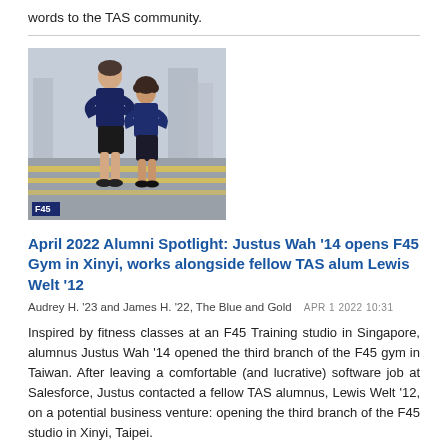words to the TAS community.
[Figure (photo): Two young men in dark blue F45 athletic shirts standing with arms crossed on a street crosswalk. The taller man stands behind and to the left of the shorter man. An F45 logo watermark appears in the bottom left corner of the image.]
April 2022 Alumni Spotlight: Justus Wah '14 opens F45 Gym in Xinyi, works alongside fellow TAS alum Lewis Welt '12
Audrey H. '23 and James H. '22, The Blue and Gold   APR 1 2022 10:31
Inspired by fitness classes at an F45 Training studio in Singapore, alumnus Justus Wah '14 opened the third branch of the F45 gym in Taiwan. After leaving a comfortable (and lucrative) software job at Salesforce, Justus contacted a fellow TAS alumnus, Lewis Welt '12, on a potential business venture: opening the third branch of the F45 studio in Xinyi, Taipei.